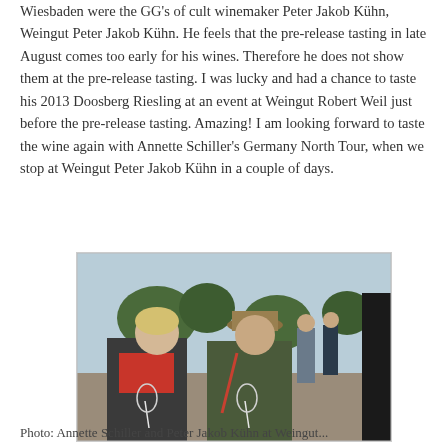Wiesbaden were the GG's of cult winemaker Peter Jakob Kühn, Weingut Peter Jakob Kühn. He feels that the pre-release tasting in late August comes too early for his wines. Therefore he does not show them at the pre-release tasting. I was lucky and had a chance to taste his 2013 Doosberg Riesling at an event at Weingut Robert Weil just before the pre-release tasting. Amazing! I am looking forward to taste the wine again with Annette Schiller's Germany North Tour, when we stop at Weingut Peter Jakob Kühn in a couple of days.
[Figure (photo): Two people standing outdoors at a winery event, holding wine glasses. A woman with blonde hair and a red scarf on the left, a man wearing a hat on the right. Trees and other attendees visible in the background.]
Photo: Annette Schiller and Peter Jakob Kühn at Weingut...